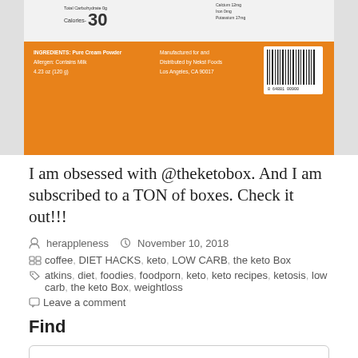[Figure (photo): Photo of the back of a product container/jar showing a nutrition label with orange background. Text visible includes: Calories 30, INGREDIENTS: Pure Cream Powder, Allergen: Contains Milk, 4.23 oz (120g), Total Carbohydrate 0g, Calcium 12mg, Iron 0mg, Potassium 17mg. Manufactured for and Distributed by Nekst Foods, Los Angeles, CA 90017. Barcode visible.]
I am obsessed with @theketobox. And I am subscribed to a TON of boxes. Check it out!!!
By herappleness  November 10, 2018
coffee, DIET HACKS, keto, LOW CARB, the keto Box
atkins, diet, foodies, foodporn, keto, keto recipes, ketosis, low carb, the keto Box, weightloss
Leave a comment
Find
Search ...